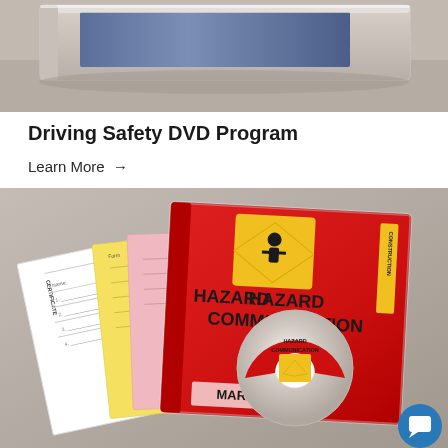[Figure (photo): Top portion of a DVD training program box against a gray/taupe surface background, partially cropped]
Driving Safety DVD Program
Learn More →
[Figure (photo): Hazard Communication Video/DVD Training Program by MARCOM — red DVD case with hazard warning symbol, accompanied by a DVD disc, certificate, and colored forms/papers, on a gray surface]